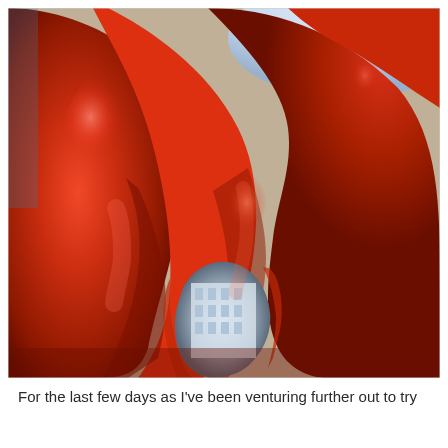[Figure (photo): Close-up photograph taken from below of a large glossy red abstract sculpture with curved, bulbous forms. The sculpture reflects light with a shiny finish. A building and bright sky are visible through gaps in the sculpture. The dominant color is vivid red-orange.]
For the last few days as I've been venturing further out to try